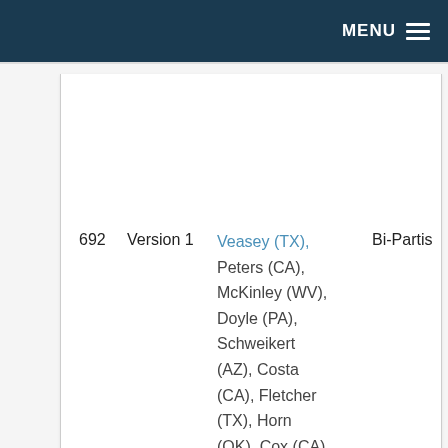MENU
|  | Version | Sponsors | Type |
| --- | --- | --- | --- |
| 692 | Version 1 | Veasey (TX), Peters (CA), McKinley (WV), Doyle (PA), Schweikert (AZ), Costa (CA), Fletcher (TX), Horn (OK), Cox (CA), | Bi-Partis… |